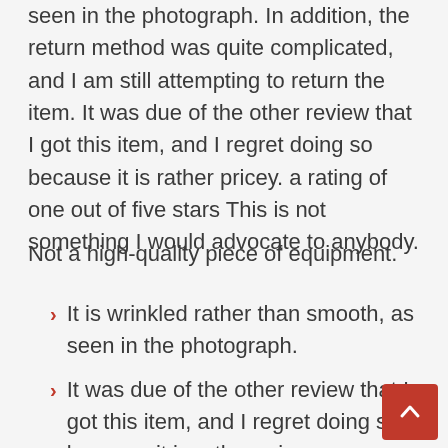seen in the photograph. In addition, the return method was quite complicated, and I am still attempting to return the item. It was due of the other review that I got this item, and I regret doing so because it is rather pricey. a rating of one out of five stars This is not something I would advocate to anybody.
Not a high-quality piece of equipment.
It is wrinkled rather than smooth, as seen in the photograph.
It was due of the other review that I got this item, and I regret doing so because it is rather pricey.
The concept was excellent; nevertheless, the design fell short of